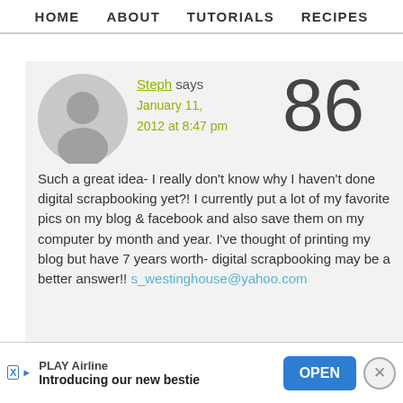HOME   ABOUT   TUTORIALS   RECIPES
[Figure (illustration): Gray circular avatar placeholder with silhouette of a person]
Steph says January 11, 2012 at 8:47 pm   86
Such a great idea- I really don't know why I haven't done digital scrapbooking yet?! I currently put a lot of my favorite pics on my blog & facebook and also save them on my computer by month and year. I've thought of printing my blog but have 7 years worth- digital scrapbooking may be a better answer!! s_westinghouse@yahoo.com
PLAY Airline Introducing our new bestie OPEN